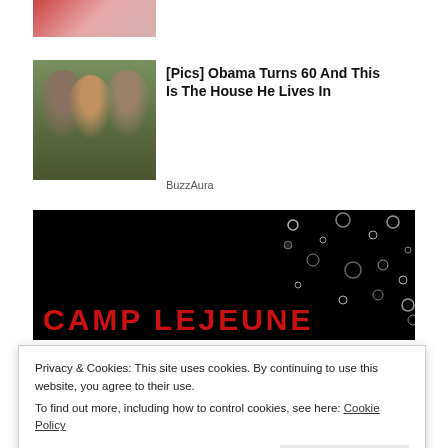[Figure (photo): Partial image at top, appears to show fingers with red nail polish, cropped]
[Figure (photo): Photo of three people smiling outdoors, appears to be a family photo]
[Pics] Obama Turns 60 And This Is The House He Lives In
BuzzAura
[Figure (photo): Dark banner image with bubbles/water drops on black background with red text reading CAMP LEJEUNE]
Privacy & Cookies: This site uses cookies. By continuing to use this website, you agree to their use.
To find out more, including how to control cookies, see here: Cookie Policy
Close and accept